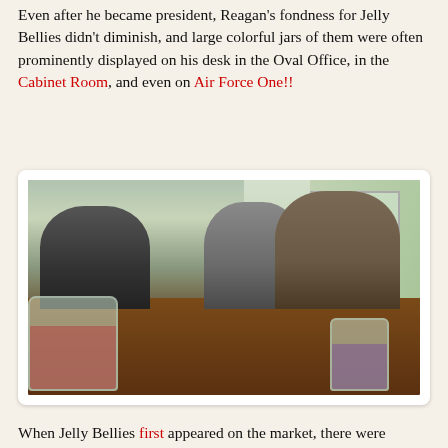Even after he became president, Reagan's fondness for Jelly Bellies didn't diminish, and large colorful jars of them were often prominently displayed on his desk in the Oval Office, in the Cabinet Room, and even on Air Force One!!
[Figure (photo): Photo of President Reagan sitting at a cabinet room table with two other men in suits, with jars of Jelly Belly jelly beans visible on the table in the foreground.]
When Jelly Bellies first appeared on the market, there were